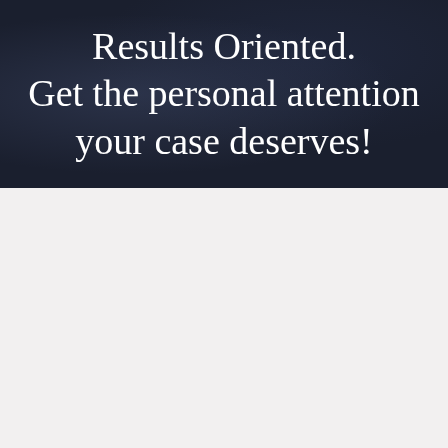Results Oriented. Get the personal attention your case deserves!